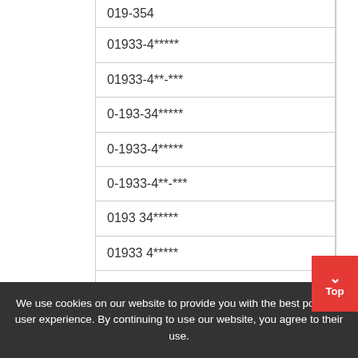| 019-354 |
| 01933-4***** |
| 01933-4**-*** |
| 0-193-34***** |
| 0-1933-4***** |
| 0-1933-4**-*** |
| 0193 34***** |
| 01933 4***** |
| 01933 4** *** |
| 0 193 34***** |
| 0 1933 4***** |
We use cookies on our website to provide you with the best possible user experience. By continuing to use our website, you agree to their use.